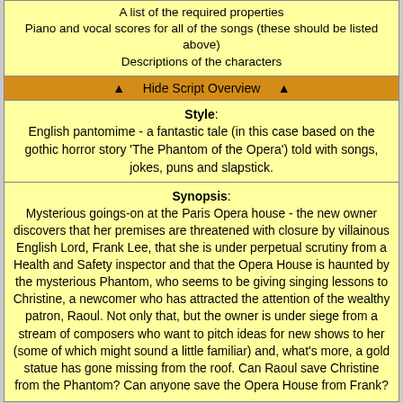A list of the required properties
Piano and vocal scores for all of the songs (these should be listed above)
Descriptions of the characters
▲   Hide Script Overview   ▲
Style: English pantomime - a fantastic tale (in this case based on the gothic horror story 'The Phantom of the Opera') told with songs, jokes, puns and slapstick.
Synopsis: Mysterious goings-on at the Paris Opera house - the new owner discovers that her premises are threatened with closure by villainous English Lord, Frank Lee, that she is under perpetual scrutiny from a Health and Safety inspector and that the Opera House is haunted by the mysterious Phantom, who seems to be giving singing lessons to Christine, a newcomer who has attracted the attention of the wealthy patron, Raoul. Not only that, but the owner is under siege from a stream of composers who want to pitch ideas for new shows to her (some of which might sound a little familiar) and, what's more, a gold statue has gone missing from the roof. Can Raoul save Christine from the Phantom? Can anyone save the Opera House from Frank?